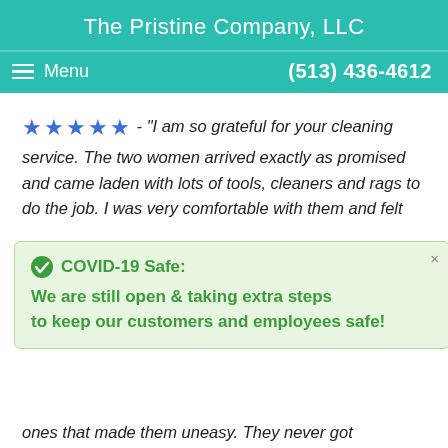The Pristine Company, LLC
Menu   (513) 436-4612
★★★★★ - "I am so grateful for your cleaning service. The two women arrived exactly as promised and came laden with lots of tools, cleaners and rags to do the job. I was very comfortable with them and felt
COVID-19 Safe: We are still open & taking extra steps to keep our customers and employees safe!
ones that made them uneasy. They never got exasperated with me...even though I probably got in their way at times. ?I just can't believe how much they completed in under 5 hours! The rooms I had them are complete and very clean. Thank you for such wonderful cleaning experience. You've definitely